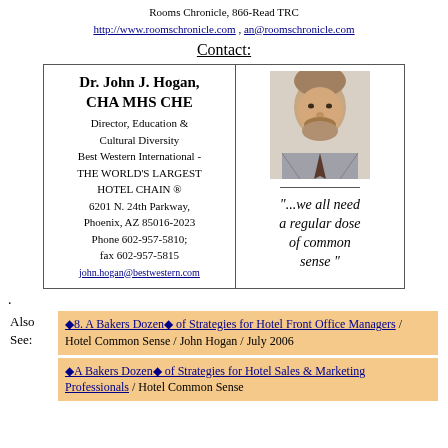Rooms Chronicle, 866-Read TRC
http://www.roomschronicle.com , an@roomschronicle.com
Contact:
| Dr. John J. Hogan, CHA MHS CHE
Director, Education & Cultural Diversity
Best Western International - THE WORLD'S LARGEST HOTEL CHAIN ®
6201 N. 24th Parkway, Phoenix, AZ 85016-2023
Phone 602-957-5810; fax 602-957-5815
john.hogan@bestwestern.com | [photo] "...we all need a regular dose of common sense " |
.
Also See: ◆8. A Bakers Dozen◆ of Strategies for Hotel Front Office Managers / Hotel Common Sense / John Hogan / July 2006
◆A Bakers Dozen◆ of Strategies for Hotel Sales & Marketing Professionals / Hotel Common Sense